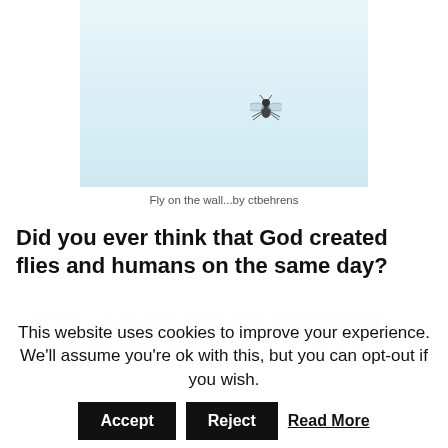[Figure (photo): A fly photographed against a pale light blue background, positioned in the upper-right area of the frame]
Fly on the wall...by ctbehrens
Did you ever think that God created flies and humans on the same day?
God said, "Let the earth produce every kind of living thing: livestock, crawling things, and wildlife." And that’s what happened. God made every kind of wildlife, every kind of
This website uses cookies to improve your experience. We’ll assume you’re ok with this, but you can opt-out if you wish. Accept Reject Read More